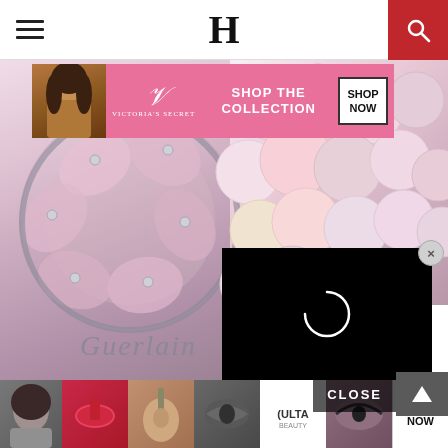H (logo) — navigation header with hamburger menu and search
[Figure (photo): Victoria's Secret advertisement banner with model, VS logo, 'SHOP THE COLLECTION' text, and 'SHOP NOW' button]
[Figure (photo): Close-up of Guerlain makeup compact with rose-petal design and powder balls, with black video loading overlay showing a spinner and a close (X) button]
[Figure (photo): Bottom carousel strip showing beauty product thumbnails, ULTA logo, CLOSE button, arrow up button, and SHOP NOW button]